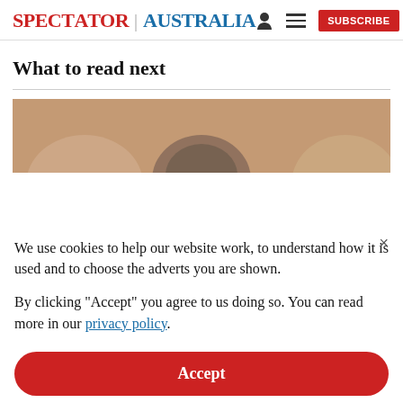SPECTATOR | AUSTRALIA  [person icon] [menu icon] SUBSCRIBE
What to read next
[Figure (photo): Partial view of people's heads/tops of heads in front of a wooden background]
We use cookies to help our website work, to understand how it is used and to choose the adverts you are shown.
By clicking "Accept" you agree to us doing so. You can read more in our privacy policy.